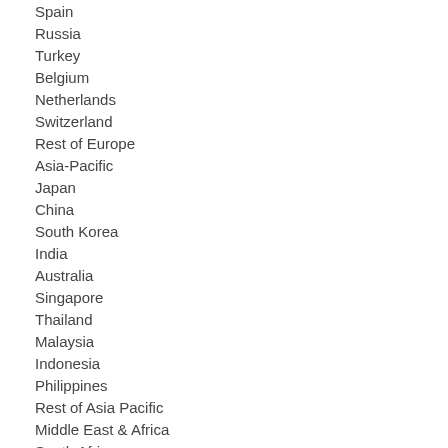Spain
Russia
Turkey
Belgium
Netherlands
Switzerland
Rest of Europe
Asia-Pacific
Japan
China
South Korea
India
Australia
Singapore
Thailand
Malaysia
Indonesia
Philippines
Rest of Asia Pacific
Middle East & Africa
South Africa
Rest of Middle East & Africa